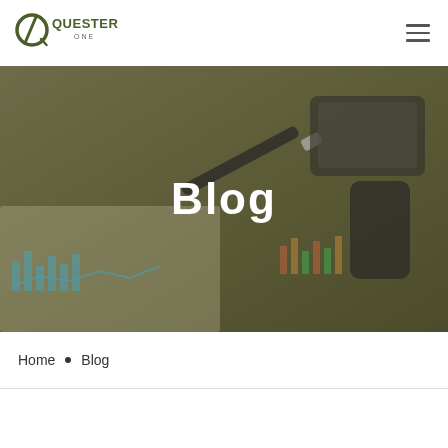[Figure (logo): Quester One company logo — circular Q icon with '1' slash motif in olive/dark green, text 'QUESTER ONE' beside it]
[Figure (photo): Hero background image: overhead view of financial charts and graphs on paper, a pen, tablet and smartphone on a wooden desk, with olive/khaki color overlay. White bold text 'Blog' centered over the image.]
Blog
Home • Blog